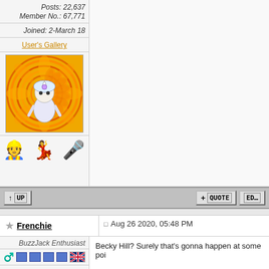Posts: 22,637
Member No.: 67,771
Joined: 2-March 18
User's Gallery
[Figure (photo): User avatar: anime-style white character on orange psychedelic sunflower spiral background]
[Figure (illustration): Three emoji icons: construction worker, dancer in purple, microphone]
↑ UP
+ QUOTE | EDIT
Frenchie — Aug 26 2020, 05:48 PM
BuzzJack Enthusiast
Group: Members
Posts: 1,999
Member No.: 72,030
Becky Hill? Surely that's gonna happen at some poi